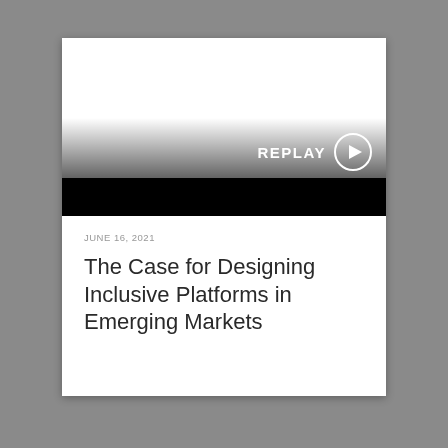[Figure (screenshot): Video thumbnail card with gradient from white to black, a REPLAY button with play icon circle in the lower right, on a gray background]
JUNE 16, 2021
The Case for Designing Inclusive Platforms in Emerging Markets